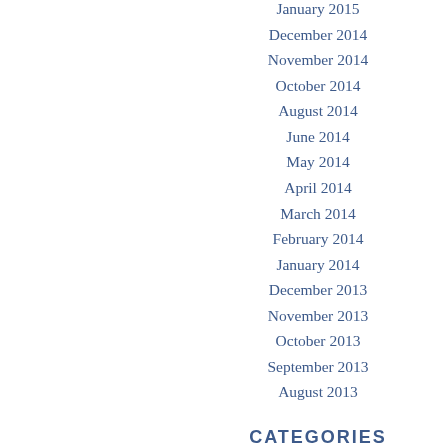January 2015
December 2014
November 2014
October 2014
August 2014
June 2014
May 2014
April 2014
March 2014
February 2014
January 2014
December 2013
November 2013
October 2013
September 2013
August 2013
CATEGORIES
A Well Lived Day – Your Masterp
Awards
Create Change / Goals and Hab